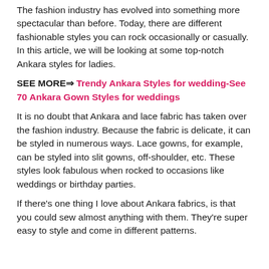The fashion industry has evolved into something more spectacular than before. Today, there are different fashionable styles you can rock occasionally or casually. In this article, we will be looking at some top-notch Ankara styles for ladies.
SEE MORE⇒ Trendy Ankara Styles for wedding-See 70 Ankara Gown Styles for weddings
It is no doubt that Ankara and lace fabric has taken over the fashion industry. Because the fabric is delicate, it can be styled in numerous ways. Lace gowns, for example, can be styled into slit gowns, off-shoulder, etc. These styles look fabulous when rocked to occasions like weddings or birthday parties.
If there's one thing I love about Ankara fabrics, is that you could sew almost anything with them. They're super easy to style and come in different patterns.